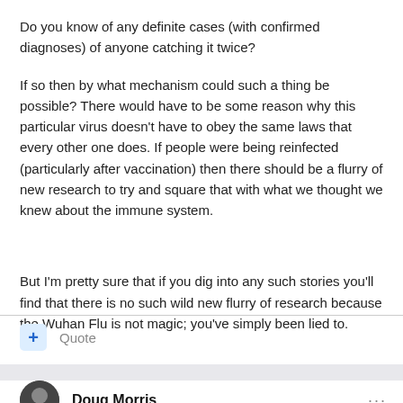Do you know of any definite cases (with confirmed diagnoses) of anyone catching it twice?
If so then by what mechanism could such a thing be possible? There would have to be some reason why this particular virus doesn't have to obey the same laws that every other one does. If people were being reinfected (particularly after vaccination) then there should be a flurry of new research to try and square that with what we thought we knew about the immune system.
But I'm pretty sure that if you dig into any such stories you'll find that there is no such wild new flurry of research because the Wuhan Flu is not magic; you've simply been lied to.
Quote
Doug Morris